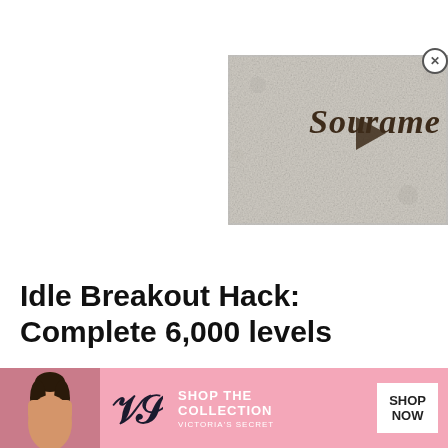[Figure (screenshot): SouFrame video thumbnail with medieval-style text on a textured gray/stone background with a play button in the center]
Idle Breakout Hack: Complete 6,000 levels
Instantly complete 6,000 levels to boost your f to have a ll thei
[Figure (screenshot): Victoria's Secret advertisement banner: pink background, VS logo, model photo, text 'SHOP THE COLLECTION' and 'SHOP NOW' button]